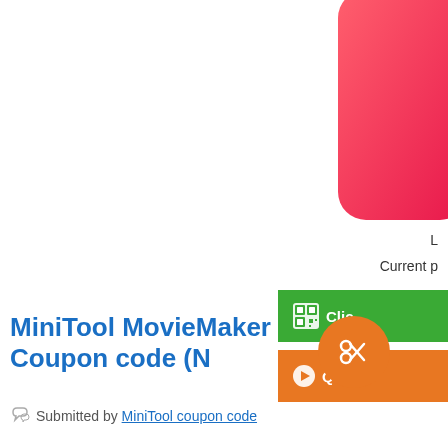[Figure (logo): Partial pink/red gradient rounded rectangle logo, cropped at right edge]
L
Current p
[Figure (other): Green button with QR icon and text 'Clic']
[Figure (other): Orange button with play icon and text 'Quic']
MiniTool MovieMaker Coupon code (N
Submitted by MiniTool coupon code
[Figure (other): Orange circle button with scissors icon]